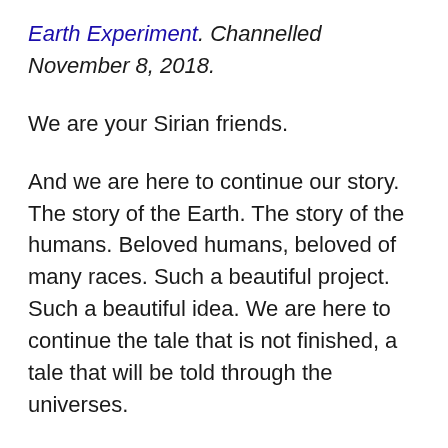Earth Experiment. Channelled November 8, 2018.
We are your Sirian friends.
And we are here to continue our story. The story of the Earth. The story of the humans. Beloved humans, beloved of many races. Such a beautiful project. Such a beautiful idea. We are here to continue the tale that is not finished, a tale that will be told through the universes.
For it is a tale of great courage. It is a tale of great love. It is a tale of spirit moving spirit through the dimensions to come to this very